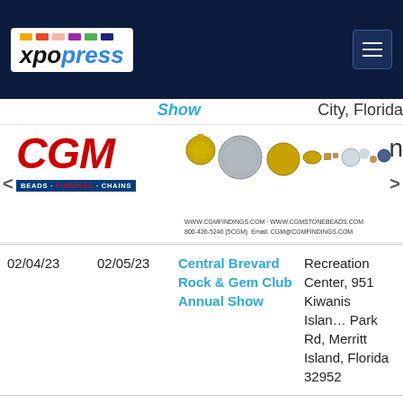xpopress navigation header
[Figure (illustration): CGM Beads Findings Chains advertisement banner with logo, bead imagery, and contact information: www.cgmfindings.com, www.cgmstonebeads.com, 800-426-5246, cgm@cgmfindings.com]
| Start Date | End Date | Show Name | Venue |
| --- | --- | --- | --- |
| 02/04/23 | 02/05/23 | Central Brevard Rock & Gem Club Annual Show | Recreation Center, 951 Kiwanis Island Park Rd, Merritt Island, Florida 32952 |
| February 2023 TBD |  | Intergalactic Bead Show - Pompano Beach, Florida - February | Emma Lou Olson Civic Center, 1801 N. E. 6th St., Pompano Beach, Florida |